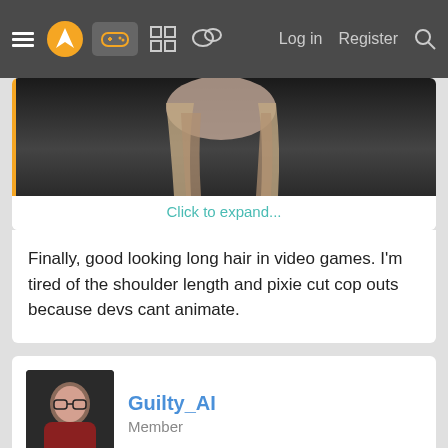☰ [logo] [gamepad icon] [grid icon] [chat icon]  Log in  Register  🔍
[Figure (screenshot): Collapsed image of a character with long hair, dark gradient background, with 'Click to expand...' link below]
Finally, good looking long hair in video games. I'm tired of the shoulder length and pixie cut cop outs because devs cant animate.
Guilty_AI
Member
Apr 24, 2021  #63
Nhranaghacon said: ↑
Flight Sim is an amazing looking game.

And it still fails to get gamers excited (myself included) because if you've played flight sim you know it's lacking in nuanced...